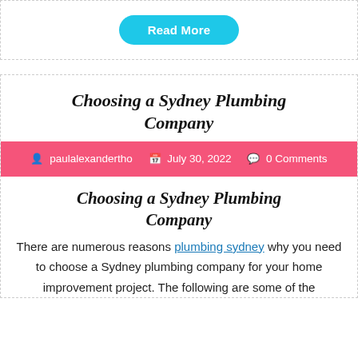[Figure (other): Read More button — cyan rounded rectangle with white bold text]
Choosing a Sydney Plumbing Company
paulalexandertho  July 30, 2022  0 Comments
Choosing a Sydney Plumbing Company
There are numerous reasons plumbing sydney why you need to choose a Sydney plumbing company for your home improvement project. The following are some of the